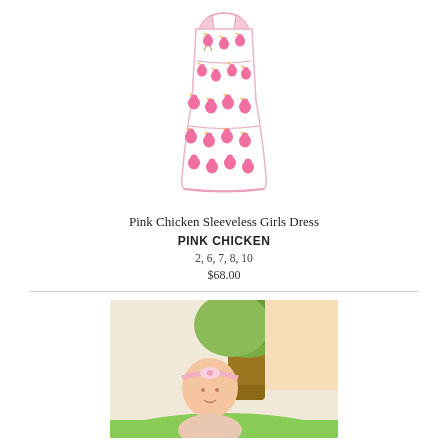[Figure (photo): Pink Chicken sleeveless girls dress with pink chicken print pattern on white/cream fabric, A-line style, sleeveless]
Pink Chicken Sleeveless Girls Dress
PINK CHICKEN
2, 6, 7, 8, 10
$68.00
[Figure (photo): Baby/toddler girl outdoors in front of a tree, wearing a pink headband with bow, photographed in natural outdoor setting]